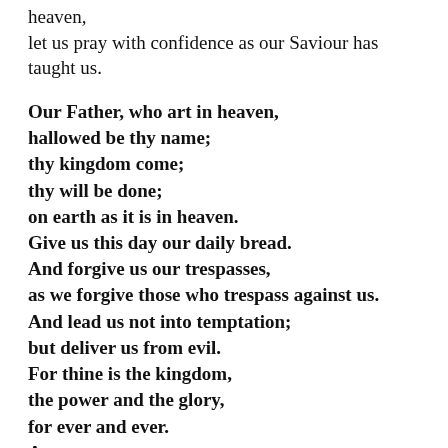heaven,
let us pray with confidence as our Saviour has taught us.
Our Father, who art in heaven,
hallowed be thy name;
thy kingdom come;
thy will be done;
on earth as it is in heaven.
Give us this day our daily bread.
And forgive us our trespasses,
as we forgive those who trespass against us.
And lead us not into temptation;
but deliver us from evil.
For thine is the kingdom,
the power and the glory,
for ever and ever.
Amen.